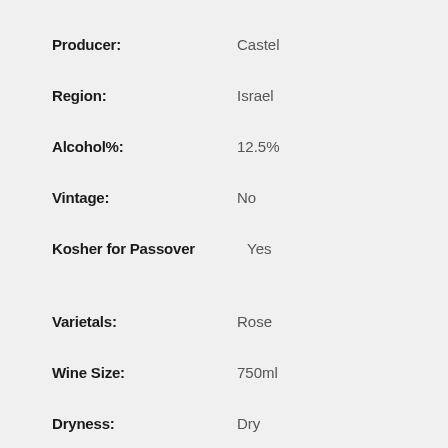Producer: Castel
Region: Israel
Alcohol%: 12.5%
Vintage: No
Kosher for Passover Yes
Varietals: Rose
Wine Size: 750ml
Dryness: Dry